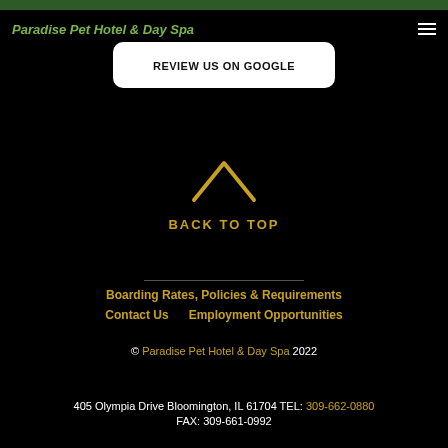Paradise Pet Hotel & Day Spa
[Figure (other): REVIEW US ON GOOGLE button - white rounded rectangle with bold black text]
[Figure (other): Gold chevron/caret up arrow icon for back to top]
BACK TO TOP
Boarding Rates, Policies & Requirements
Contact Us
Employment Opportunities
© Paradise Pet Hotel & Day Spa 2022
405 Olympia Drive Bloomington, IL 61704 TEL: 309-662-0880 FAX: 309-661-0992